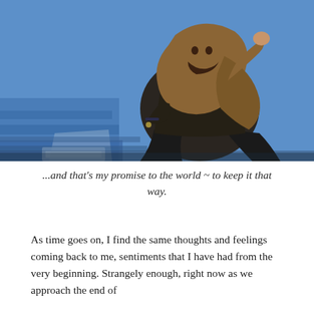[Figure (photo): A man with long hair draped in a brown/khaki head wrap and dark clothing, sitting against a blue painted wall with blue steps, resting his hand on his head in a contemplative pose.]
...and that's my promise to the world ~ to keep it that way.
As time goes on, I find the same thoughts and feelings coming back to me, sentiments that I have had from the very beginning. Strangely enough, right now as we approach the end of